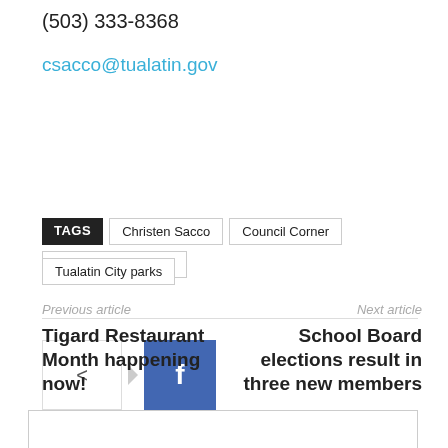(503) 333-8368
csacco@tualatin.gov
TAGS  Christen Sacco  Council Corner  Tualatin City Council  Tualatin City parks
[Figure (other): Share button with arrow pointing to Facebook button]
Previous article
Tigard Restaurant Month happening now!
Next article
School Board elections result in three new members